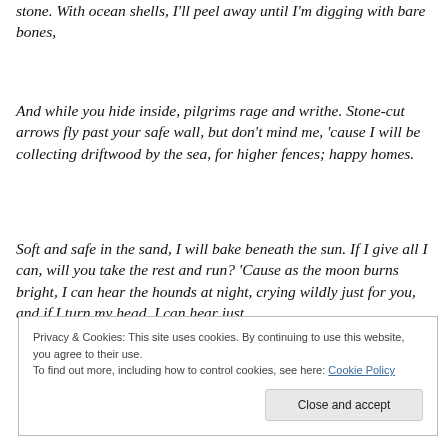stone.  With ocean shells, I'll peel away until I'm digging with bare bones,
And while you hide inside, pilgrims rage and writhe. Stone-cut arrows fly past your safe wall, but don't mind me, 'cause I will be collecting driftwood by the sea, for higher fences; happy homes.
Soft and safe in the sand, I will bake beneath the sun.  If I give all I can, will you take the rest and run? 'Cause as the moon burns bright, I can hear the hounds at night, crying wildly just for you, and if I turn my head, I can hear just
Privacy & Cookies: This site uses cookies. By continuing to use this website, you agree to their use.
To find out more, including how to control cookies, see here: Cookie Policy